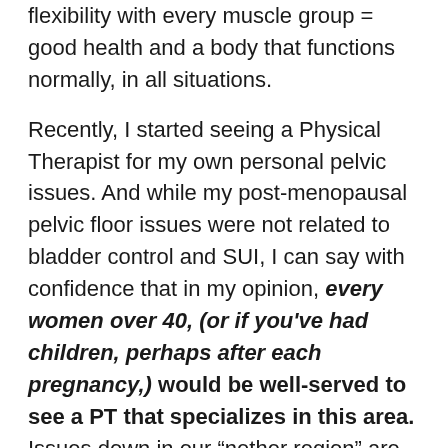flexibility with every muscle group = good health and a body that functions normally, in all situations.
Recently, I started seeing a Physical Therapist for my own personal pelvic issues. And while my post-menopausal pelvic floor issues were not related to bladder control and SUI, I can say with confidence that in my opinion, every women over 40, (or if you've had children, perhaps after each pregnancy,) would be well-served to see a PT that specializes in this area. Issues down in our “nether region” are not something that we spend a lot of time talking about with friends, family, or our physician. And whether its pelvic pain, urinary incontinence, or something else… these issues are NOT “normal.” You shouldn’t have to just grin and bear it, believing that you’re just getting older and there is nothing